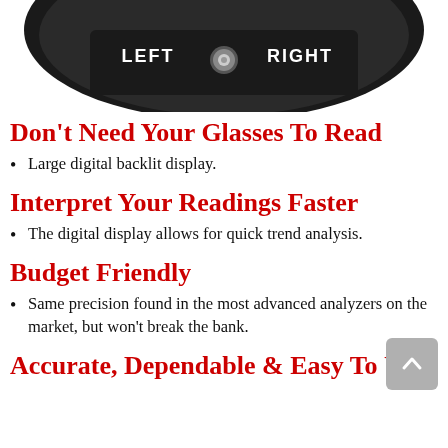[Figure (photo): Close-up of a gauge or analyzer device showing a toggle switch with LEFT and RIGHT labels on a black panel]
Don’t Need Your Glasses To Read
Large digital backlit display.
Interpret Your Readings Faster
The digital display allows for quick trend analysis.
Budget Friendly
Same precision found in the most advanced analyzers on the market, but won’t break the bank.
Accurate, Dependable & Easy To Use